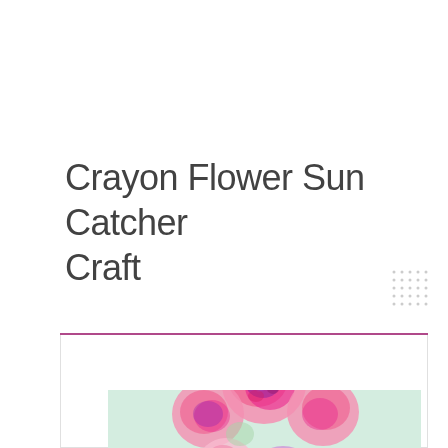Crayon Flower Sun Catcher Craft
[Figure (photo): A colorful crayon flower sun catcher craft showing pink and purple melted crayon artwork shaped like flowers against a light green background]